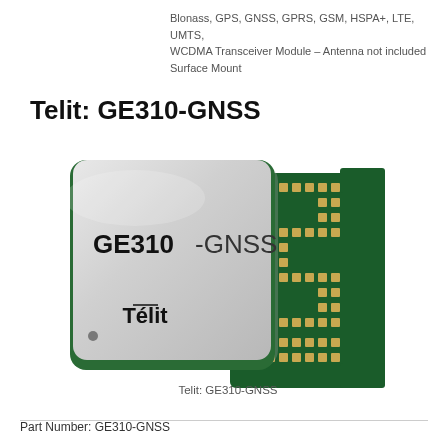Blonass, GPS, GNSS, GPRS, GSM, HSPA+, LTE, UMTS, WCDMA Transceiver Module – Antenna not included Surface Mount
Telit: GE310-GNSS
[Figure (photo): Photo of Telit GE310-GNSS transceiver module showing front face with GE310-GNSS label and Telit logo, plus back view showing green PCB with gold solder pads arranged in a pattern.]
Telit: GE310-GNSS
Part Number: GE310-GNSS